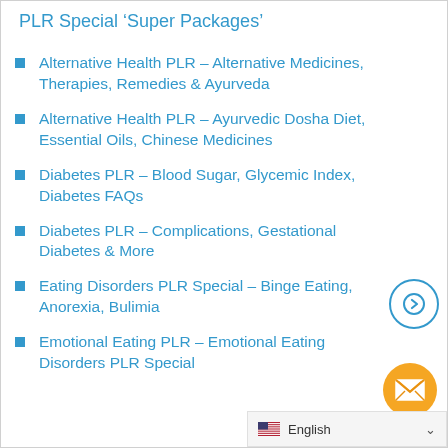PLR Special ‘Super Packages’
Alternative Health PLR – Alternative Medicines, Therapies, Remedies & Ayurveda
Alternative Health PLR – Ayurvedic Dosha Diet, Essential Oils, Chinese Medicines
Diabetes PLR – Blood Sugar, Glycemic Index, Diabetes FAQs
Diabetes PLR – Complications, Gestational Diabetes & More
Eating Disorders PLR Special – Binge Eating, Anorexia, Bulimia
Emotional Eating PLR – Emotional Eating Disorders PLR Special
English